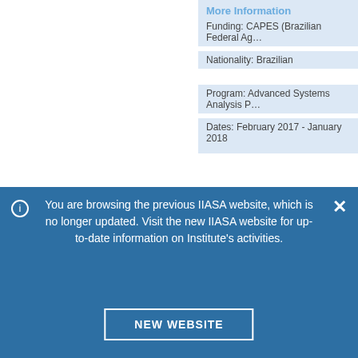More Information
Funding: CAPES (Brazilian Federal Ag…
Nationality: Brazilian
Program: Advanced Systems Analysis P…
Dates: February 2017 - January 2018
Last edited: 15 February 2018
You are browsing the previous IIASA website, which is no longer updated. Visit the new IIASA website for up-to-date information on Institute's activities.
NEW WEBSITE